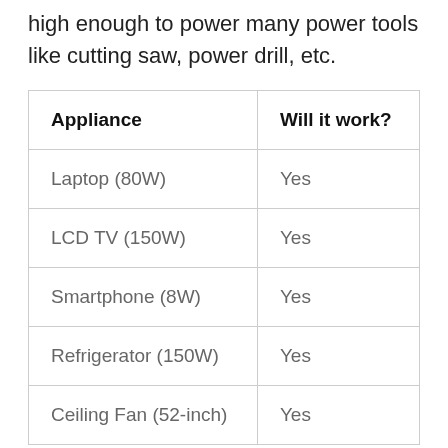high enough to power many power tools like cutting saw, power drill, etc.
| Appliance | Will it work? |
| --- | --- |
| Laptop (80W) | Yes |
| LCD TV (150W) | Yes |
| Smartphone (8W) | Yes |
| Refrigerator (150W) | Yes |
| Ceiling Fan (52-inch) | Yes |